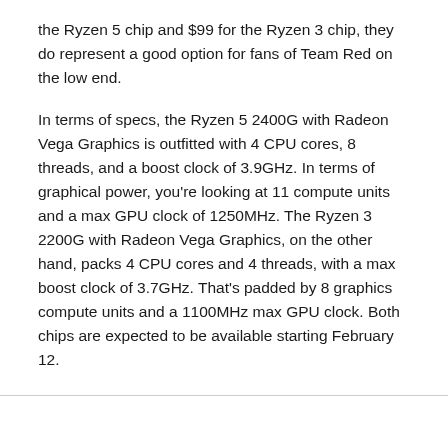the Ryzen 5 chip and $99 for the Ryzen 3 chip, they do represent a good option for fans of Team Red on the low end.
In terms of specs, the Ryzen 5 2400G with Radeon Vega Graphics is outfitted with 4 CPU cores, 8 threads, and a boost clock of 3.9GHz. In terms of graphical power, you're looking at 11 compute units and a max GPU clock of 1250MHz. The Ryzen 3 2200G with Radeon Vega Graphics, on the other hand, packs 4 CPU cores and 4 threads, with a max boost clock of 3.7GHz. That's padded by 8 graphics compute units and a 1100MHz max GPU clock. Both chips are expected to be available starting February 12.